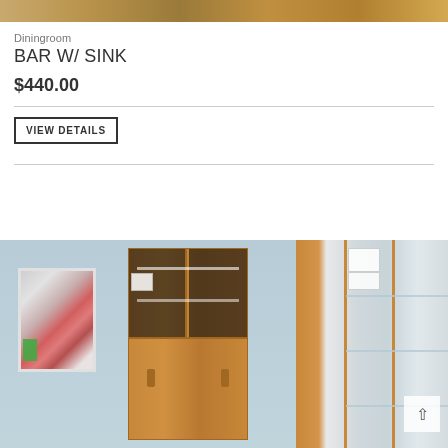[Figure (photo): Top partial photo of wooden furniture or cabinetry with warm brown tones]
Diningroom
BAR W/ SINK
$440.00
VIEW DETAILS
[Figure (photo): Interior store scene showing framed abstract artwork leaning against a light blue wall, two tall wooden display cabinets with glass doors in the center, and a tall wooden display cabinet with glass shelves on the right]